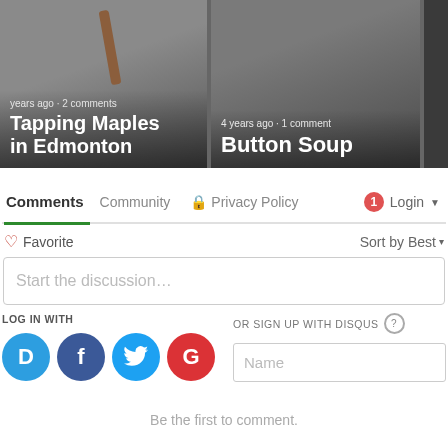[Figure (screenshot): Card thumbnail for 'Tapping Maples in Edmonton' with dark overlay and text]
4 years ago · 1 comment
Button Soup
Comments  Community  🔒 Privacy Policy  🔴1  Login ▼
♡ Favorite
Sort by Best ▾
Start the discussion…
LOG IN WITH
OR SIGN UP WITH DISQUS ?
Name
Be the first to comment.